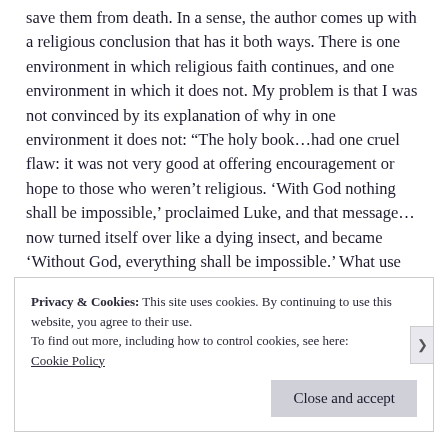save them from death. In a sense, the author comes up with a religious conclusion that has it both ways. There is one environment in which religious faith continues, and one environment in which it does not. My problem is that I was not convinced by its explanation of why in one environment it does not: “The holy book…had one cruel flaw: it was not very good at offering encouragement or hope to those who weren’t religious. ‘With God nothing shall be impossible,’ proclaimed Luke, and that message… now turned itself over like a dying insect, and became ‘Without God, everything shall be impossible.’ What use was that?”
Privacy & Cookies: This site uses cookies. By continuing to use this website, you agree to their use.
To find out more, including how to control cookies, see here: Cookie Policy